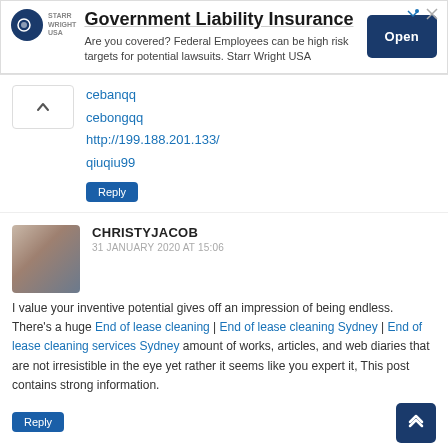[Figure (screenshot): Advertisement banner for Government Liability Insurance by Starr Wright USA with Open button]
cebanqq
cebongqq
http://199.188.201.133/
qiuqiu99
Reply
CHRISTYJACOB
31 JANUARY 2020 AT 15:06
I value your inventive potential gives off an impression of being endless. There's a huge End of lease cleaning | End of lease cleaning Sydney | End of lease cleaning services Sydney amount of works, articles, and web diaries that are not irresistible in the eye yet rather it seems like you expert it, This post contains strong information.
Reply
MAEROUF